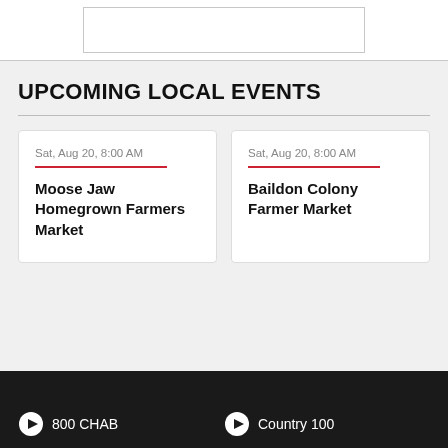[Figure (other): Top white section with a bordered empty box]
UPCOMING LOCAL EVENTS
Sat, Aug 20, 8:00 AM
Moose Jaw Homegrown Farmers Market
Sat, Aug 20, 8:00 AM
Baildon Colony Farmer Market
800 CHAB   Country 100